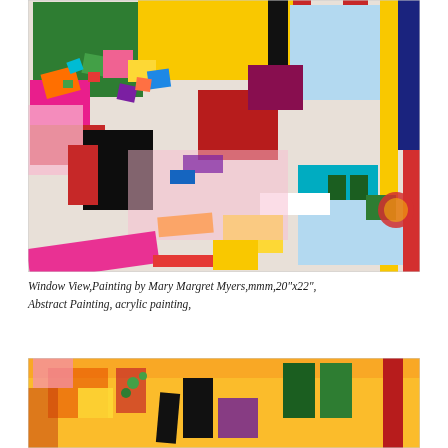[Figure (illustration): Abstract colorful painting titled 'Window View' by Mary Margret Myers. The painting is a vibrant mixed-media collage with geometric shapes in bold colors: red, yellow, green, blue, pink, black, white, and purple. It features rectangular and irregular paper/paint patches arranged in a window-like composition.]
Window View,Painting by Mary Margret Myers,mmm,20"x22", Abstract Painting, acrylic painting,
[Figure (illustration): Bottom portion of another abstract colorful painting visible at the bottom of the page, showing similar bold geometric shapes in yellow, orange, red, green, black, and purple against a warm background.]